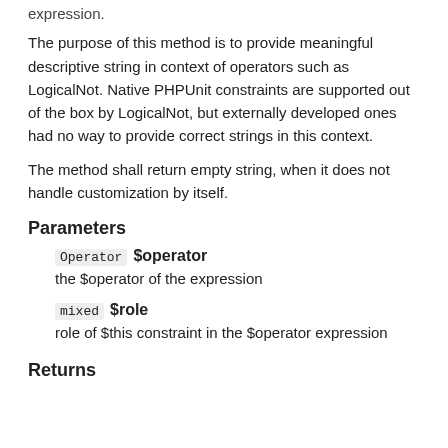expression.
The purpose of this method is to provide meaningful descriptive string in context of operators such as LogicalNot. Native PHPUnit constraints are supported out of the box by LogicalNot, but externally developed ones had no way to provide correct strings in this context.
The method shall return empty string, when it does not handle customization by itself.
Parameters
Operator $operator
the $operator of the expression
mixed $role
role of $this constraint in the $operator expression
Returns